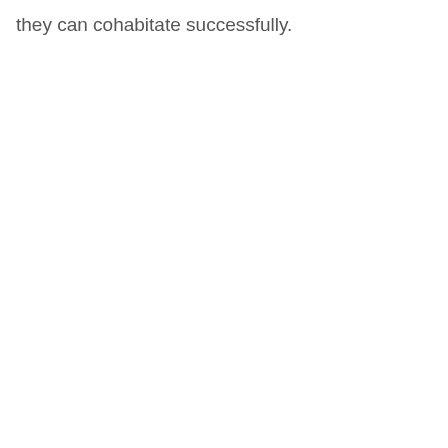they can cohabitate successfully.